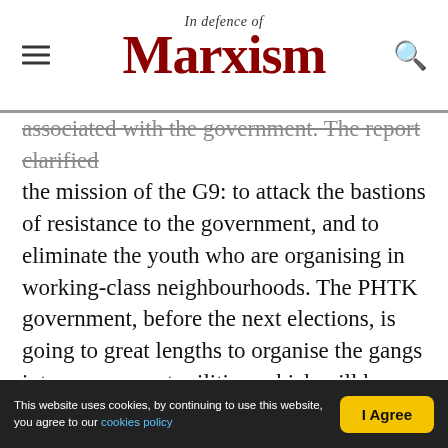In Defence of Marxism
associated with the government. The report clarified the mission of the G9: to attack the bastions of resistance to the government, and to eliminate the youth who are organising in working-class neighbourhoods. The PHTK government, before the next elections, is going to great lengths to organise the gangs into government militias, which will have to execute its macabre plan, based on state terrorism and organised crime in order to maintain the regime and allow it to continue. By force of arms and money, this discredited government, rejected by the population, still intends to maintain itself and remain in power.
This website uses cookies, by continuing to use this website, you agree to our cookies policy | I Agree